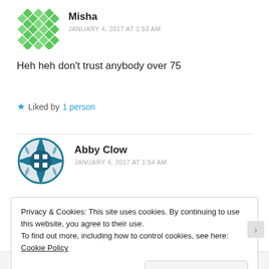[Figure (illustration): Avatar icon for Misha – green geometric diamond/square pattern on white background]
Misha
JANUARY 4, 2017 AT 1:53 AM
Heh heh don't trust anybody over 75
★ Liked by 1 person
[Figure (illustration): Avatar icon for Abby Clow – dark teal geometric cross/compass pattern]
Abby Clow
JANUARY 4, 2017 AT 1:54 AM
Privacy & Cookies: This site uses cookies. By continuing to use this website, you agree to their use.
To find out more, including how to control cookies, see here: Cookie Policy
Close and accept